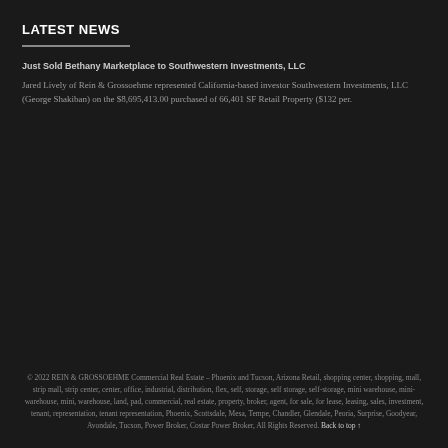LATEST NEWS
Just Sold Bethany Marketplace to Southwestern Investments, LLC
Jared Lively of Rein & Grossoehme represented California-based investor Southwestern Investments, LLC (George Shakiban) on the $8,695,413.00 purchased of 66,401 SF Retail Property ($132 per.
© 2022 REIN & GROSSOEHME Commercial Real Estate – Phoenix and Tucson, Arizona Retail, shopping center, shopping, mall, strip mall, strip center, center, office, industrial, distribution, flex, self, storage, self storage, self-storage, mini warehouse, mini-warehouse, mini, warehouse, land, pad, commercial, real estate, property, broker, agent, for sale, for lease, leasing, sales, investment, tenant, representation, tenant representation, Phoenix, Scottsdale, Mesa, Tempe, Chandler, Glendale, Peoria, Surprise, Goodyear, Avondale, Tucson, Power Broker, Costar Power Broker, All Rights Reserved. Back to top ↑